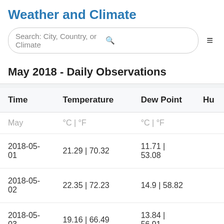Weather and Climate
May 2018 - Daily Observations
| Time | Temperature | Dew Point | Hum |
| --- | --- | --- | --- |
| May | °C | °F | °C | °F |  |
| 2018-05-01 | 21.29 | 70.32 | 11.71 | 53.08 |  |
| 2018-05-02 | 22.35 | 72.23 | 14.9 | 58.82 |  |
| 2018-05-03 | 19.16 | 66.49 | 13.84 | 56.91 |  |
| 2018-05-04 | 20.22 | 68.4 | 13.84 | 56.91 |  |